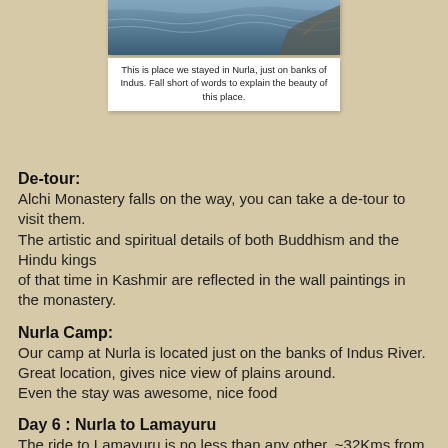[Figure (photo): Aerial/landscape photo of water, likely the Indus river near Nurla, showing waves and rocky terrain]
This is place we stayed in Nurla, just on banks of Indus. Fall short of words to explain the beauty of this place.
De-tour:
Alchi Monastery falls on the way, you can take a de-tour to visit them.
The artistic and spiritual details of both Buddhism and the Hindu kings
of that time in Kashmir are reflected in the wall paintings in the monastery.
Nurla Camp:
Our camp at Nurla is located just on the banks of Indus River.
Great location, gives nice view of plains around.
Even the stay was awesome, nice food
Day 6 : Nurla to Lamayuru
The ride to Lamayuru is no less than any other, ~32Kms from Nurla.
Village Khalsi falls in between, place where you can buy dry